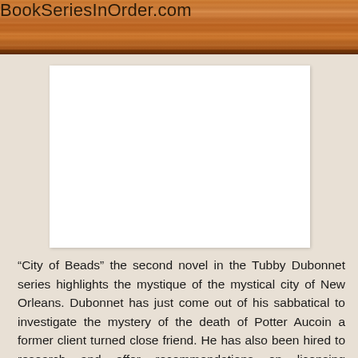BookSeriesInOrder.com
[Figure (other): Book cover image placeholder (white rectangle) for City of Beads, second novel in the Tubby Dubonnet series]
“City of Beads” the second novel in the Tubby Dubonnet series highlights the mystique of the mystical city of New Orleans. Dubonnet has just come out of his sabbatical to investigate the mystery of the death of Potter Aucoin a former client turned close friend. He has also been hired to research and offer recommendations on licensing requirements for the lucrative gambling casinos, whose owners have links to the mob. Despite his hands being